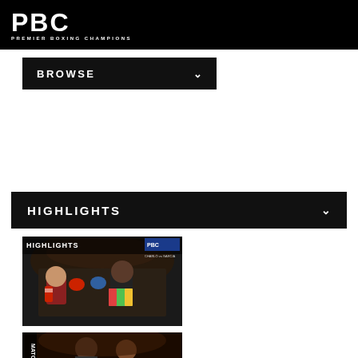PBC PREMIER BOXING CHAMPIONS
BROWSE
HIGHLIGHTS
[Figure (photo): Boxing match highlights thumbnail showing two fighters exchanging punches, with HIGHLIGHTS PBC text overlay and colorful shorts visible]
[Figure (photo): Second boxing match highlights thumbnail partially visible at bottom of page]